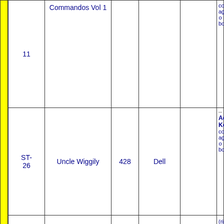| ID | Title | Issue | Publisher | Year | Description |
| --- | --- | --- | --- | --- | --- |
| 11 | Commandos Vol 1 |  |  |  | comics, age, o bo |
| ST-26 | Uncle Wiggily | 428 | Dell |  | Addi Keyw comics, age, o bo |
| JS-23 | Underworld | 8 |  | 1949 | (rip i comp thro cor Addi Keyw comics, |